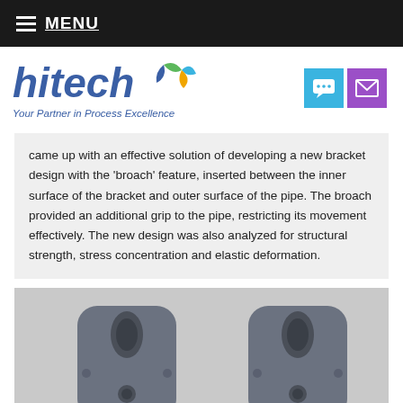MENU
[Figure (logo): Hitech logo with colorful recycling-style icon and tagline 'Your Partner in Process Excellence']
came up with an effective solution of developing a new bracket design with the 'broach' feature, inserted between the inner surface of the bracket and outer surface of the pipe. The broach provided an additional grip to the pipe, restricting its movement effectively. The new design was also analyzed for structural strength, stress concentration and elastic deformation.
[Figure (photo): Two 3D-rendered gray metal bracket components side by side, showing engineering design with oval holes and mounting features. The right bracket shows a green component (broach) inserted between bracket and pipe.]